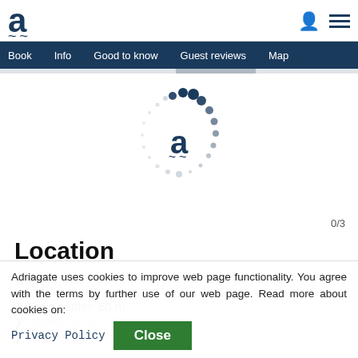a~ [logo] with person icon and menu icon
Book | Info | Good to know | Guest reviews | Map
[Figure (logo): Adriagate loading spinner with 'a~' logo in center surrounded by dots in circular pattern]
0/3
Location
[Figure (photo): Broken image placeholder icon]
Town center: 50 m
Market: 50 m
Bus stop: 50 m
Adriagate uses cookies to improve web page functionality. You agree with the terms by further use of our web page. Read more about cookies on:
Privacy Policy   Close